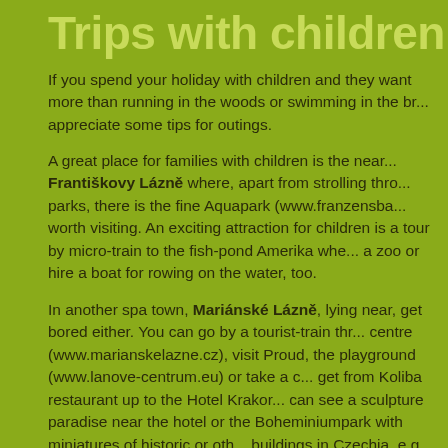Trips with children
If you spend your holiday with children and they want more than running in the woods or swimming in the brook, you will appreciate some tips for outings.
A great place for families with children is the nearby Františkovy Lázně where, apart from strolling through parks, there is the fine Aquapark (www.franzensba...) worth visiting. An exciting attraction for children is a tour by micro-train to the fish-pond Amerika where there is a zoo or hire a boat for rowing on the water, too.
In another spa town, Mariánské Lázně, lying near, get bored either. You can go by a tourist-train through the centre (www.marianskelazne.cz), visit Proud, the playground (www.lanove-centrum.eu) or take a cable car to get from Koliba restaurant up to the Hotel Krakonoš. You can see a sculpture paradise near the hotel or the Boheminiumpark with miniatures of historic or other buildings in Czechia, e.g. Castle Karlštejn, Chateau Lhota, lookout tower on top of Ještěd Mountain